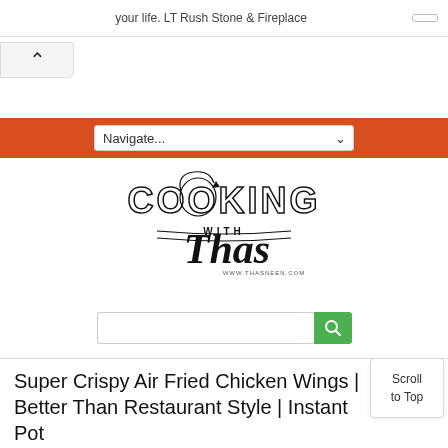your life. LT Rush Stone & Fireplace
[Figure (logo): Cooking with Thas logo - decorative cooking-themed typography with www.thasneen.com]
Super Crispy Air Fried Chicken Wings | Better Than Restaurant Style | Instant Pot